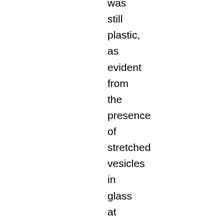was still plastic, as evident from the presence of stretched vesicles in glass at fracture terminations. The fractures in plagioclase are